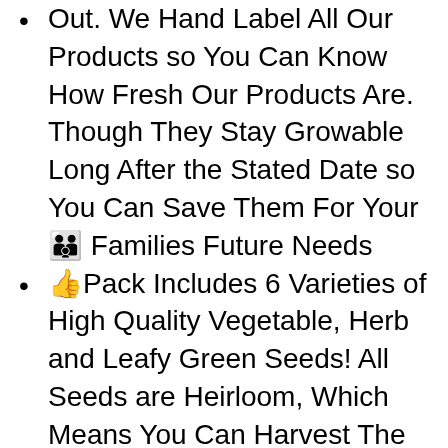Out. We Hand Label All Our Products so You Can Know How Fresh Our Products Are. Though They Stay Growable Long After the Stated Date so You Can Save Them For Your👪 Families Future Needs
👍Pack Includes 6 Varieties of High Quality Vegetable, Herb and Leafy Green Seeds! All Seeds are Heirloom, Which Means You Can Harvest The Seeds & Use Them For Next Year! All Varieties Are Also 100% Non-GMO, Non-Hybrid & Heirloom Open, Here is THE